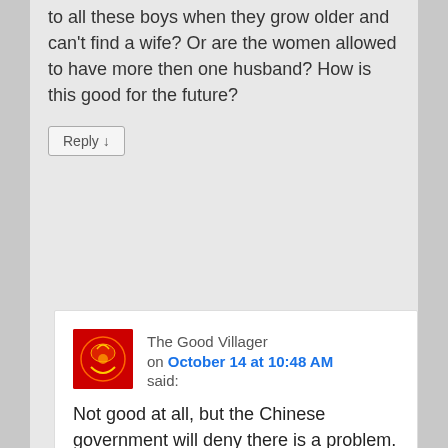to all these boys when they grow older and can't find a wife? Or are the women allowed to have more then one husband? How is this good for the future?
Reply ↓
The Good Villager on October 14 at 10:48 AM said:
Not good at all, but the Chinese government will deny there is a problem.
There are reports of human trafficking (women kidnapped from other countries and sold as wives) and families sharing wives.
On the more amusing side, online